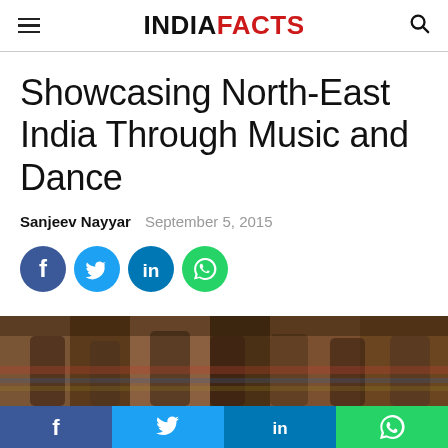INDIAFACTS
Showcasing North-East India Through Music and Dance
Sanjeev Nayyar   September 5, 2015
[Figure (infographic): Social share icons: Facebook (blue circle), Twitter (light blue circle), LinkedIn (blue circle), WhatsApp (green circle)]
[Figure (photo): Photo of people in traditional North-East Indian dress, partially visible]
f  (Twitter bird)  in  (WhatsApp icon) — bottom social share bar